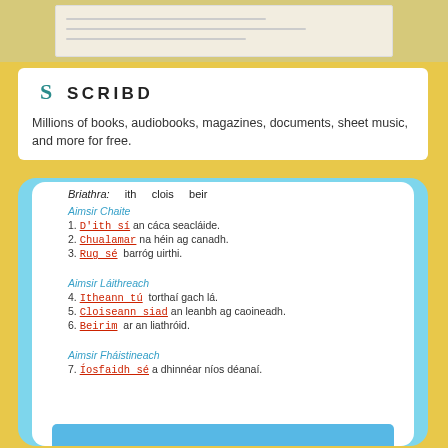[Figure (photo): Top portion showing a lined paper background — partial view of a document or notebook]
[Figure (logo): Scribd logo with teal S icon and SCRIBD text in bold]
Millions of books, audiobooks, magazines, documents, sheet music, and more for free.
[Figure (screenshot): Screenshot of a mobile phone app showing an Irish language grammar exercise with sections Aimsir Chaite, Aimsir Láithreach, Aimsir Fháistineach, verb forms listed and highlighted in red with underlines]
Briathra:  ith  clois  beir
Aimsir Chaite
1. D'ith sí an cáca seacláide.
2. Chualamar na héin ag canadh.
3. Rug sé barróg uirthi.
Aimsir Láithreach
4. Itheann tú torthaí gach lá.
5. Cloiseann siad an leanbh ag caoineadh.
6. Beirim ar an liathróid.
Aimsir Fháistineach
7. Íosfaidh sé a dhinnéar níos déanaí.